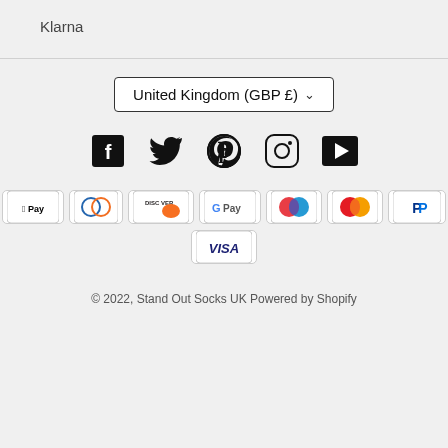Klarna
[Figure (infographic): Country/currency selector dropdown showing 'United Kingdom (GBP £)' with a chevron, social media icons (Facebook, Twitter, Pinterest, Instagram, YouTube), and payment method logos (Amex, Apple Pay, Diners, Discover, Google Pay, Maestro, Mastercard, PayPal, OPay, Visa)]
© 2022, Stand Out Socks UK Powered by Shopify